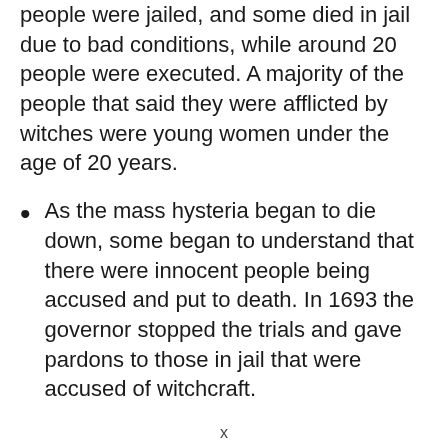people were jailed, and some died in jail due to bad conditions, while around 20 people were executed. A majority of the people that said they were afflicted by witches were young women under the age of 20 years.
As the mass hysteria began to die down, some began to understand that there were innocent people being accused and put to death. In 1693 the governor stopped the trials and gave pardons to those in jail that were accused of witchcraft.
Q&A: